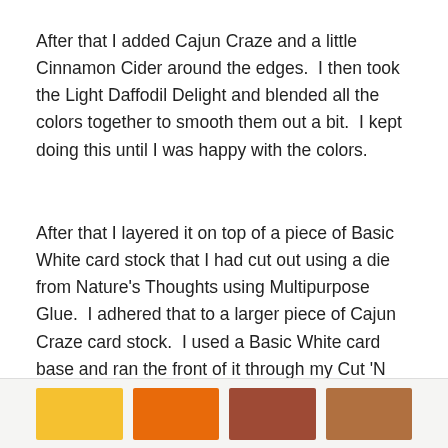After that I added Cajun Craze and a little Cinnamon Cider around the edges.  I then took the Light Daffodil Delight and blended all the colors together to smooth them out a bit.  I kept doing this until I was happy with the colors.
After that I layered it on top of a piece of Basic White card stock that I had cut out using a die from Nature's Thoughts using Multipurpose Glue.  I adhered that to a larger piece of Cajun Craze card stock.  I used a Basic White card base and ran the front of it through my Cut 'N Emboss machine using the Tasteful Textile Embossing Folder.  I added the sentiment (Pinkfresh) using Stampin' Up!® Dimensionals.  Lastly I added some Sequins For Everything.
[Figure (other): Color swatches showing four colors: yellow/golden, orange, reddish-brown, and medium brown]